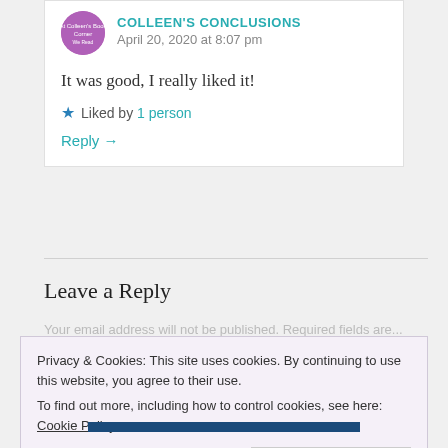COLLEEN'S CONCLUSIONS
April 20, 2020 at 8:07 pm
It was good, I really liked it!
★ Liked by 1 person
Reply →
Leave a Reply
Privacy & Cookies: This site uses cookies. By continuing to use this website, you agree to their use. To find out more, including how to control cookies, see here: Cookie Policy
Close and accept